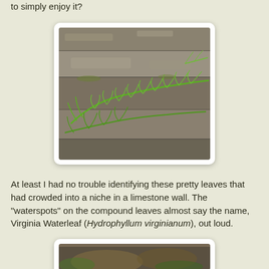to simply enjoy it?
[Figure (photo): Bright green fern fronds growing in a crevice of a limestone rock wall, photographed close-up.]
At least I had no trouble identifying these pretty leaves that had crowded into a niche in a limestone wall. The "waterspots" on the compound leaves almost say the name, Virginia Waterleaf (Hydrophyllum virginianum), out loud.
[Figure (photo): Partial view of another plant photograph, bottom of page.]